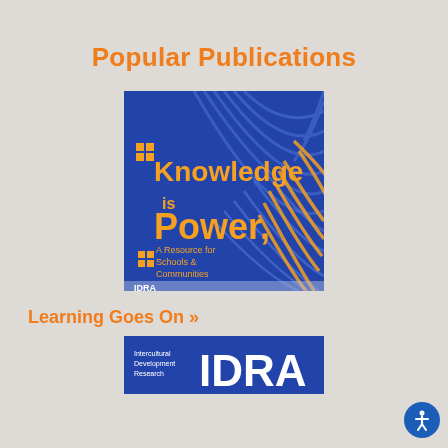Popular Publications
[Figure (illustration): Book cover with blue background and orange text reading 'Knowledge is Power. A Resource for Schools & Communities. IDRA.' with decorative circular wave pattern.]
Learning Goes On »
[Figure (logo): Partial view of IDRA logo with text 'Intercultural Development Research' and large letters 'IDRA' on blue background.]